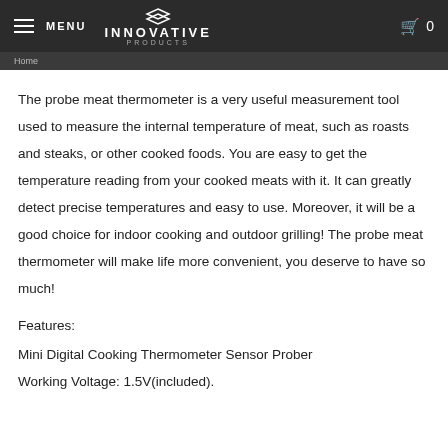MENU | INNOVATIVE PRODUCTS | 0
The probe meat thermometer is a very useful measurement tool used to measure the internal temperature of meat, such as roasts and steaks, or other cooked foods. You are easy to get the temperature reading from your cooked meats with it. It can greatly detect precise temperatures and easy to use. Moreover, it will be a good choice for indoor cooking and outdoor grilling! The probe meat thermometer will make life more convenient, you deserve to have so much!
Features:
Mini Digital Cooking Thermometer Sensor Prober
Working Voltage: 1.5V(included).